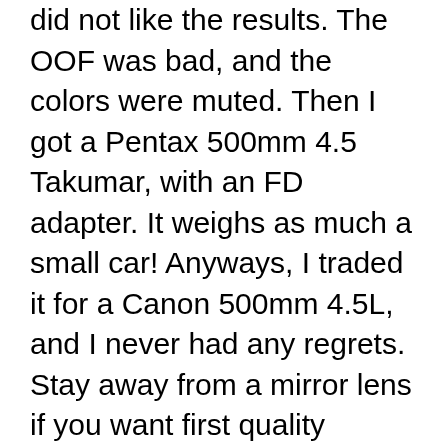did not like the results. The OOF was bad, and the colors were muted. Then I got a Pentax 500mm 4.5 Takumar, with an FD adapter. It weighs as much a small car! Anyways, I traded it for a Canon 500mm 4.5L, and I never had any regrets. Stay away from a mirror lens if you want first quality images.
Bower 500mm / 1000mm f/8 Telephoto Lens for Canon EOS Rebel T1i T2i T3 T3i + 2X Converter + Accessory Kit. Bower T-Mount 500mm f/8 Mirror Lens with Case #SLY5008. Model #: SLY5008; Return Policy: Product Review Rebates Trade-In Your Items Jun 26, 2019B B· how are Bower telephoto lenses? Apr 12, 2012 I am curious if the inexpensive